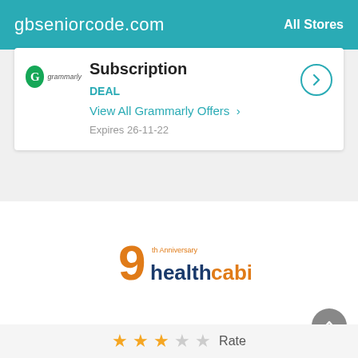gbseniorcode.com   All Stores
Subscription
DEAL
View All Grammarly Offers >
Expires 26-11-22
[Figure (logo): HealthCabin 9th anniversary logo with orange 9 and blue/orange text]
Continue to healthcabin.net
★★★☆☆ Rate